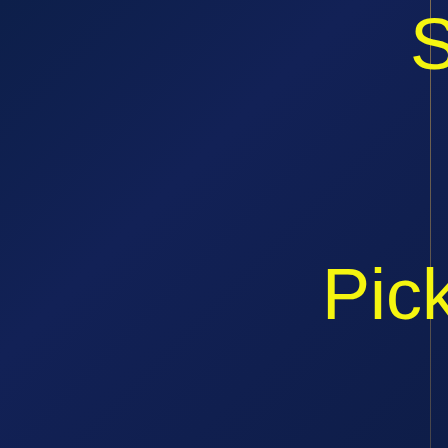[Figure (illustration): Dark navy blue background with a vertical gold/amber dividing line near the right side of the left panel. Yellow text 'S' visible at top right and 'Pick' visible in center right area, both partially cropped. This appears to be a cover or title page with a two-panel layout.]